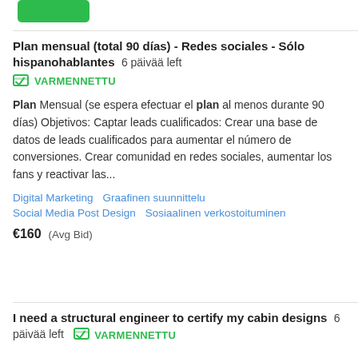Plan mensual (total 90 días) - Redes sociales - Sólo hispanohablantes  6 päivää left
VARMENNETTU
Plan Mensual (se espera efectuar el plan al menos durante 90 días) Objetivos: Captar leads cualificados: Crear una base de datos de leads cualificados para aumentar el número de conversiones. Crear comunidad en redes sociales, aumentar los fans y reactivar las...
Digital Marketing   Graafinen suunnittelu   Social Media Post Design   Sosiaalinen verkostoituminen
€160  (Avg Bid)
I need a structural engineer to certify my cabin designs  6 päivää left  VARMENNETTU